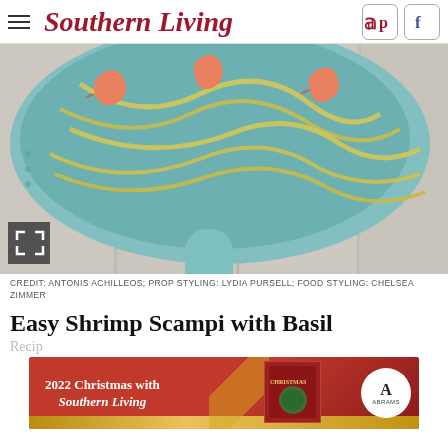Southern Living
[Figure (photo): Overhead view of a light blue cast iron skillet with shrimp scampi pasta on a white wood background]
CREDIT: ANTONIS ACHILLEOS; PROP STYLING: LYDIA PURSELL; FOOD STYLING: CHELSEA ZIMMER
Easy Shrimp Scampi with Basil
Recip
[Figure (infographic): Advertisement banner: 2022 Christmas with Southern Living book ad by Abrams]